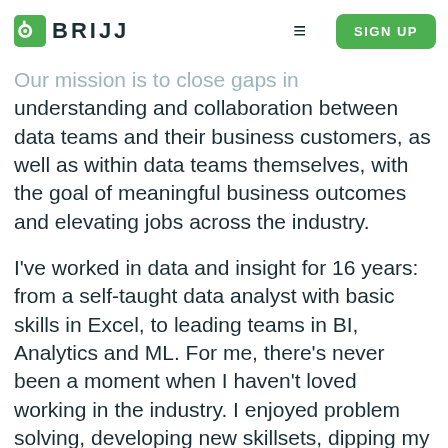BRIJJ — SIGN UP
Our mission is to close gaps in understanding and collaboration between data teams and their business customers, as well as within data teams themselves, with the goal of meaningful business outcomes and elevating jobs across the industry.
I've worked in data and insight for 16 years: from a self-taught data analyst with basic skills in Excel, to leading teams in BI, Analytics and ML. For me, there's never been a moment when I haven't loved working in the industry. I enjoyed problem solving, developing new skillsets, dipping my toe into every area of business, and working with inspiring stakeholders. But while I mostly had